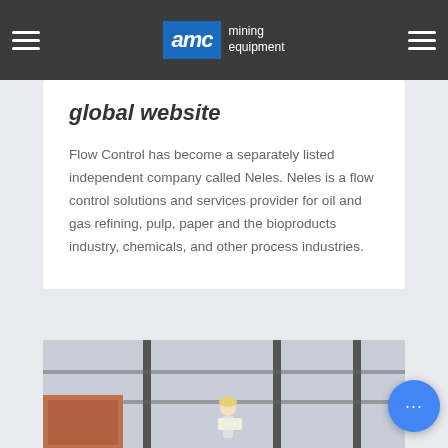AMC mining equipment
global website
Flow Control has become a separately listed independent company called Neles. Neles is a flow control solutions and services provider for oil and gas refining, pulp, paper and the bioproducts industry, chemicals, and other process industries.
[Figure (photo): Industrial scene with workers and scaffolding/poles at a mining or construction site]